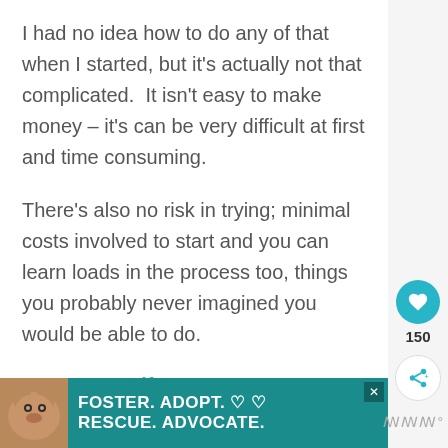I had no idea how to do any of that when I started, but it's actually not that complicated.  It isn't easy to make money – it's can be very difficult at first and time consuming.
There's also no risk in trying; minimal costs involved to start and you can learn loads in the process too, things you probably never imagined you would be able to do.
Try It Yourself Here.
[Figure (infographic): Advertisement banner with teal background showing a dog and text: FOSTER. ADOPT. RESCUE. ADVOCATE.]